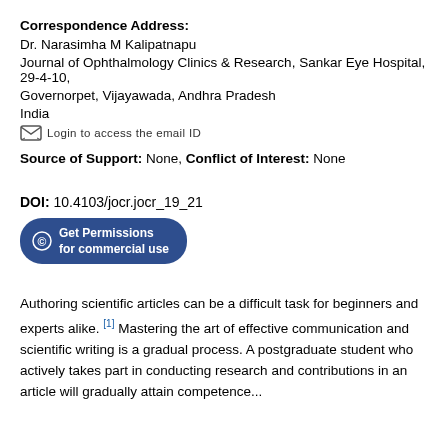Correspondence Address: Dr. Narasimha M Kalipatnapu Journal of Ophthalmology Clinics & Research, Sankar Eye Hospital, 29-4-10, Governorpet, Vijayawada, Andhra Pradesh India Login to access the email ID
Source of Support: None, Conflict of Interest: None
DOI: 10.4103/jocr.jocr_19_21
[Figure (other): Get Permissions for commercial use button]
Authoring scientific articles can be a difficult task for beginners and experts alike. [1] Mastering the art of effective communication and scientific writing is a gradual process. A postgraduate student who actively takes part in conducting research and contributions in an article will gradually attain competence...